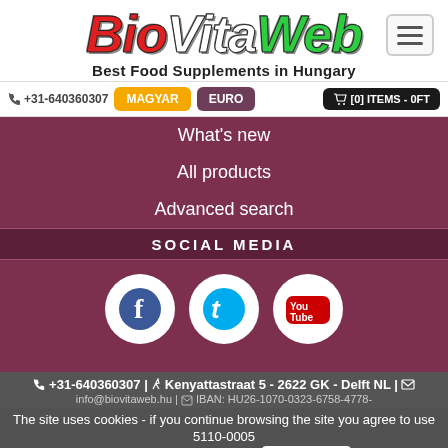BioVitaWeb — Best Food Supplements in Hungary
+31-640360307 | MAGYAR | EURO | [0] ITEMS - 0FT
What's new
All products
Advanced search
SOCIAL MEDIA
[Figure (illustration): Social media icons: Facebook, Twitter, YouTube]
+31-640360307 | Kenyattastraat 5 - 2622 GK - Delft NL | info@biovitaweb.hu | IBAN: HU26-1070-0323-6758-4778-5110-0005
The site uses cookies - if you continue browsing the site you agree to use the cookies. Terms of Use | I accept X
Copyright © 2022 BioVitaWeb | created by O.F.Y.